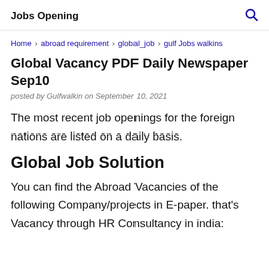Jobs Opening
Home › abroad requirement › global_job › gulf Jobs walkins
Global Vacancy PDF Daily Newspaper Sep10
posted by Gulfwalkin on September 10, 2021
The most recent job openings for the foreign nations are listed on a daily basis.
Global Job Solution
You can find the Abroad Vacancies of the following Company/projects in E-paper. that's Vacancy through HR Consultancy in india: